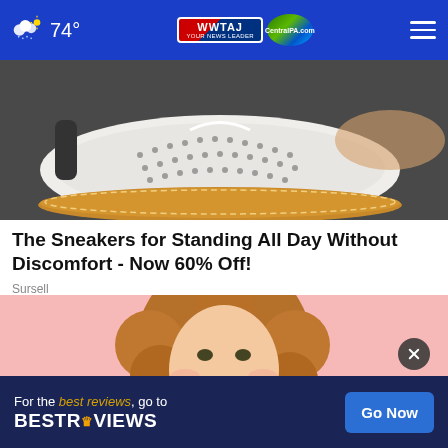74° WWTAJ CentralPA.com
[Figure (photo): Close-up photo of white sneaker with perforated design and tan/cork-style sole on dark pavement]
The Sneakers for Standing All Day Without Discomfort - Now 60% Off!
Sursell
[Figure (photo): Young woman with curly hair smiling against a pink background]
[Figure (screenshot): BestReviews advertisement banner: 'For the best reviews, go to BESTREVIEWS' with a 'Go Now' button]